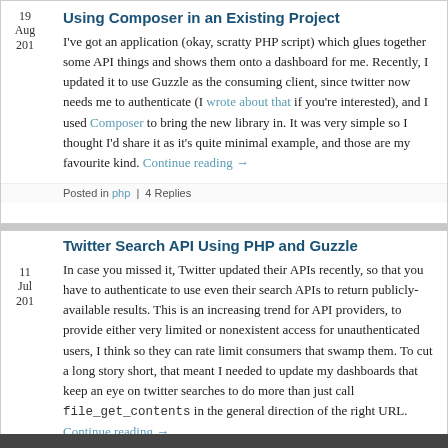Using Composer in an Existing Project
I've got an application (okay, scratty PHP script) which glues together some API things and shows them onto a dashboard for me. Recently, I updated it to use Guzzle as the consuming client, since twitter now needs me to authenticate (I wrote about that if you're interested), and I used Composer to bring the new library in. It was very simple so I thought I'd share it as it's quite minimal example, and those are my favourite kind. Continue reading →
Posted in php | 4 Replies
Twitter Search API Using PHP and Guzzle
In case you missed it, Twitter updated their APIs recently, so that you have to authenticate to use even their search APIs to return publicly-available results. This is an increasing trend for API providers, to provide either very limited or nonexistent access for unauthenticated users, I think so they can rate limit consumers that swamp them. To cut a long story short, that meant I needed to update my dashboards that keep an eye on twitter searches to do more than just call file_get_contents in the general direction of the right URL. Continue reading →
Posted in php | 9 Replies